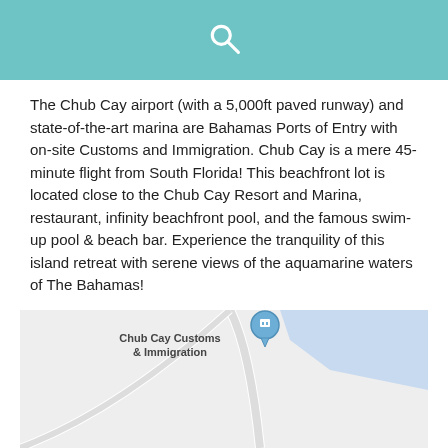Search icon header
The Chub Cay airport (with a 5,000ft paved runway) and state-of-the-art marina are Bahamas Ports of Entry with on-site Customs and Immigration. Chub Cay is a mere 45-minute flight from South Florida! This beachfront lot is located close to the Chub Cay Resort and Marina, restaurant, infinity beachfront pool, and the famous swim-up pool & beach bar. Experience the tranquility of this island retreat with serene views of the aquamarine waters of The Bahamas!
Location Map
[Figure (map): Google Maps screenshot showing Chub Cay Customs & Immigration location with a map pin marker. Shows road layout and water/land areas in blue and off-white.]